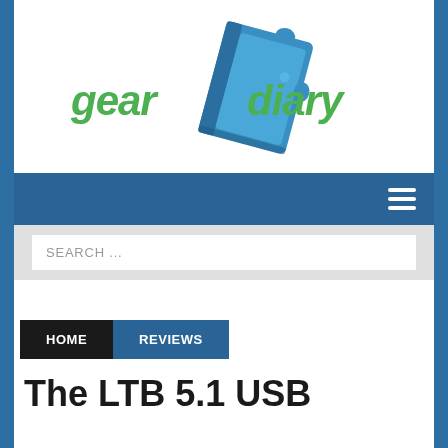[Figure (logo): Gear Diary logo with blue puzzle-piece notebook and green stylized text 'gear diary']
[Figure (screenshot): Blue navigation bar with white hamburger menu icon (three horizontal lines) on the right]
[Figure (screenshot): Light grey search bar with white input box containing placeholder text 'SEARCH ...']
HOME
REVIEWS
The LTB 5.1 USB